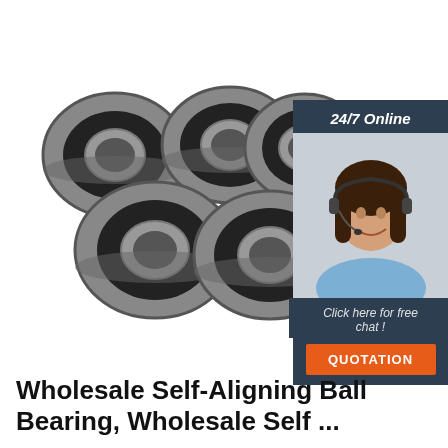[Figure (photo): Multiple black and silver self-aligning ball bearings arranged in a group on white background]
[Figure (photo): Customer service representative woman wearing headset smiling, with '24/7 Online' text overlay and 'Click here for free chat!' and orange 'QUOTATION' button on dark blue sidebar]
Wholesale Self-Aligning Ball Bearing, Wholesale Self ...